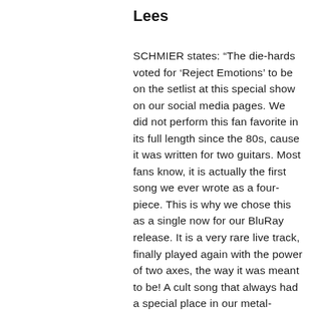Lees
SCHMIER states: “The die-hards voted for ‘Reject Emotions’ to be on the setlist at this special show on our social media pages. We did not perform this fan favorite in its full length since the 80s, cause it was written for two guitars. Most fans know, it is actually the first song we ever wrote as a four-piece. This is why we chose this as a single now for our BluRay release. It is a very rare live track, finally played again with the power of two axes, the way it was meant to be! A cult song that always had a special place in our metal-hearts! The flashback shots from the 80s in honor of the old line up build a bridge to our history and will hopefully bring